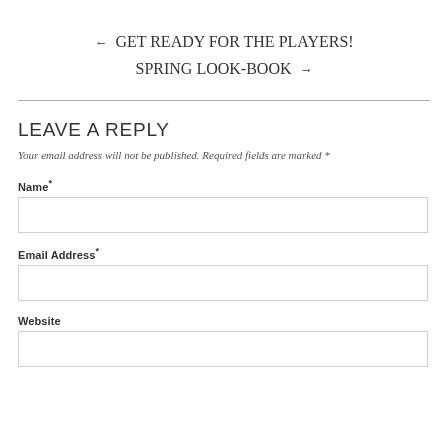← GET READY FOR THE PLAYERS!
SPRING LOOK-BOOK →
LEAVE A REPLY
Your email address will not be published. Required fields are marked *
Name*
Email Address*
Website